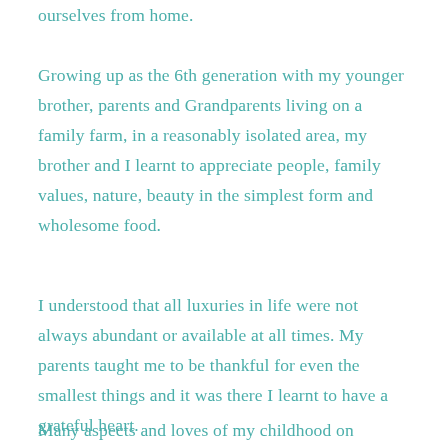ourselves from home.
Growing up as the 6th generation with my younger brother, parents and Grandparents living on a family farm, in a reasonably isolated area, my brother and I learnt to appreciate people, family values, nature, beauty in the simplest form and wholesome food.
I understood that all luxuries in life were not always abundant or available at all times. My parents taught me to be thankful for even the smallest things and it was there I learnt to have a grateful heart.
Many aspects and loves of my childhood on